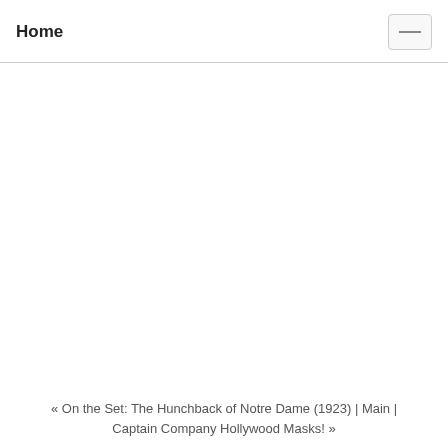Home
« On the Set: The Hunchback of Notre Dame (1923) | Main | Captain Company Hollywood Masks! »